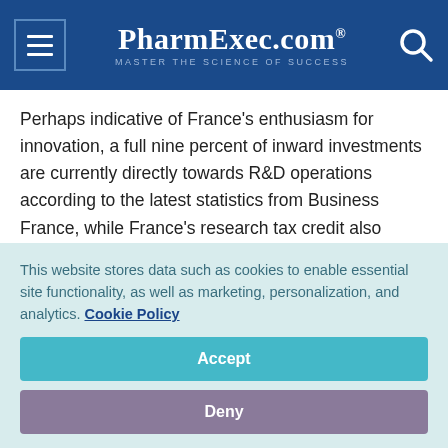PharmExec.com® — MASTER THE SCIENCE OF SUCCESS
Perhaps indicative of France's enthusiasm for innovation, a full nine percent of inward investments are currently directly towards R&D operations according to the latest statistics from Business France, while France's research tax credit also tends to act as a real draw for multinationals. "France's sheer commitment to innovation, especially in healthcare, is a considerable strength. The prevailing tendency to allocate resources towards R&D results in a system with high
This website stores data such as cookies to enable essential site functionality, as well as marketing, personalization, and analytics. Cookie Policy
Accept
Deny